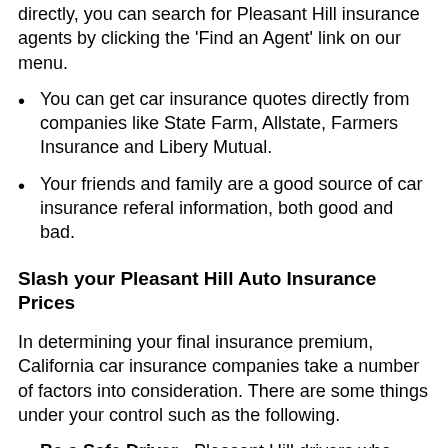directly, you can search for Pleasant Hill insurance agents by clicking the 'Find an Agent' link on our menu.
You can get car insurance quotes directly from companies like State Farm, Allstate, Farmers Insurance and Libery Mutual.
Your friends and family are a good source of car insurance referal information, both good and bad.
Slash your Pleasant Hill Auto Insurance Prices
In determining your final insurance premium, California car insurance companies take a number of factors into consideration. There are some things under your control such as the following.
Be a Safe Driver - Pleasant Hill drivers who obey the law pay much less than poor drivers.